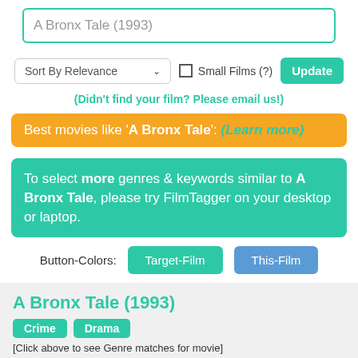A Bronx Tale (1993)
Sort By Relevance  Small Films (?)  Update
(Didn't find your film? Please email us!)
Best movies like 'A Bronx Tale':  (Learn more)
To select more genres & keywords similar to A Bronx Tale, please try FilmTagger on your desktop or laptop.
Button-Colors:  Target-Film  This-Film
A Bronx Tale (1993)
Crime  Drama
[Click above to see Genre matches for movie]
Gangster Sonny is the big man in the Bronx neighborhood of an Italian ...